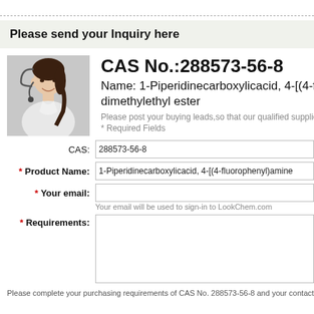Please send your Inquiry here
CAS No.:288573-56-8
Name: 1-Piperidinecarboxylicacid, 4-[(4-f
dimethylethyl ester
Please post your buying leads,so that our qualified suppliers will
* Required Fields
CAS: 288573-56-8
* Product Name: 1-Piperidinecarboxylicacid, 4-[(4-fluorophenyl)amine
* Your email:
Your email will be used to sign-in to LookChem.com
* Requirements:
Please complete your purchasing requirements of CAS No. 288573-56-8 and your contact detail